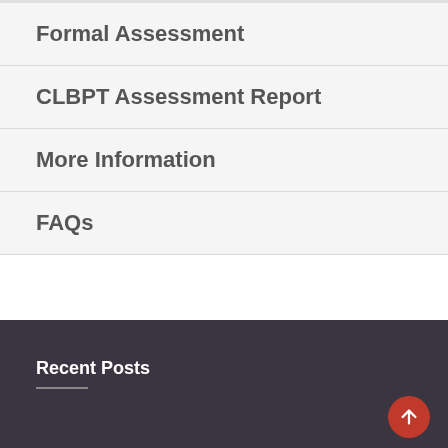Formal Assessment
CLBPT Assessment Report
More Information
FAQs
Recent Posts